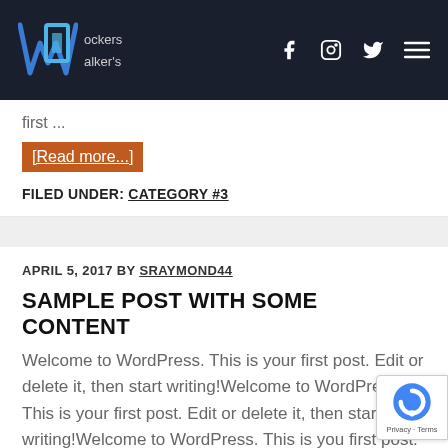Lockers Walker's — site header with logo and social icons (Facebook, Instagram, Twitter, Menu)
first ...
[Read more...]
FILED UNDER: CATEGORY #3
APRIL 5, 2017 BY SRAYMOND44
SAMPLE POST WITH SOME CONTENT
Welcome to WordPress. This is your first post. Edit or delete it, then start writing!Welcome to WordPress. This is your first post. Edit or delete it, then start writing!Welcome to WordPress. This is your first post. Edit or delete it, then start